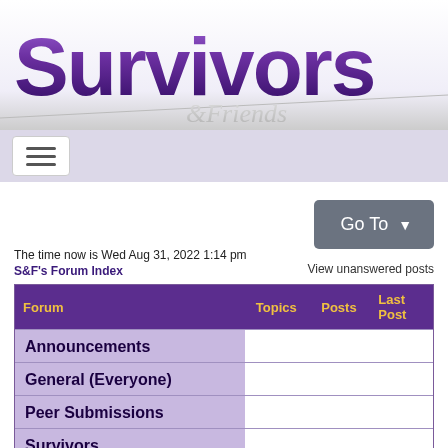[Figure (logo): Survivors & Friends logo with large purple bold text 'Survivors' and cursive '&Friends' in grey]
[Figure (other): Navigation bar with hamburger menu icon]
[Figure (other): Go To dropdown button in grey]
The time now is Wed Aug 31, 2022 1:14 pm
S&F's Forum Index
View unanswered posts
| Forum | Topics | Posts | Last Post |
| --- | --- | --- | --- |
| Announcements |  |  |  |
| General (Everyone) |  |  |  |
| Peer Submissions |  |  |  |
| Survivors |  |  |  |
| Parents, Partners, and Loved Ones |  |  |  |
| Parents, Partners, and Loved Ones |  |  |  |